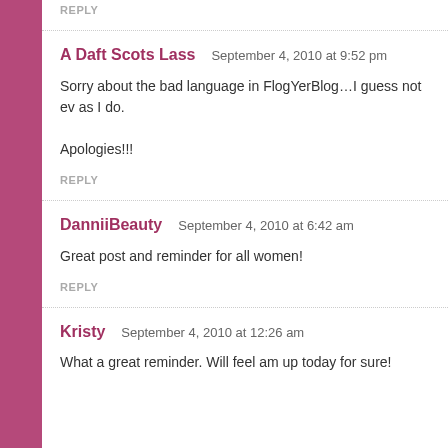REPLY
A Daft Scots Lass  September 4, 2010 at 9:52 pm
Sorry about the bad language in FlogYerBlog…I guess not ev as I do.

Apologies!!!
REPLY
DanniiBeauty  September 4, 2010 at 6:42 am
Great post and reminder for all women!
REPLY
Kristy  September 4, 2010 at 12:26 am
What a great reminder. Will feel am up today for sure!